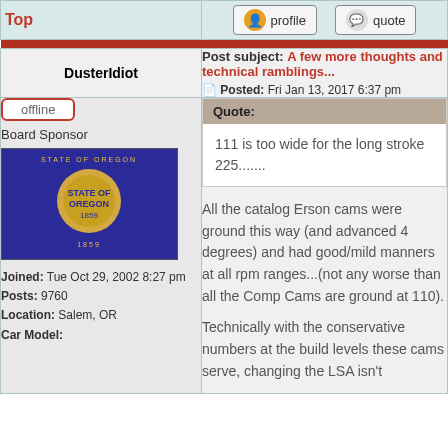Top
profile
quote
DusterIdiot
Post subject: A few more thoughts and technical ramblings... Posted: Fri Jan 13, 2017 6:37 pm
offline
Board Sponsor
[Figure (illustration): State of Oregon flag, blue background with gold seal, text STATE OF OREGON 1859]
Joined: Tue Oct 29, 2002 8:27 pm
Posts: 9760
Location: Salem, OR
Car Model:
Quote:
111 is too wide for the long stroke 225.......
All the catalog Erson cams were ground this way (and advanced 4 degrees) and had good/mild manners at all rpm ranges...(not any worse than all the Comp Cams are ground at 110).
Technically with the conservative numbers at the build levels these cams serve, changing the LSA isn't